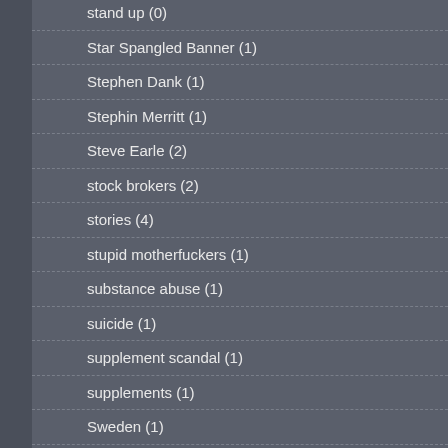stand up (0)
Star Spangled Banner (1)
Stephen Dank (1)
Stephin Merritt (1)
Steve Earle (2)
stock brokers (2)
stories (4)
stupid motherfuckers (1)
substance abuse (1)
suicide (1)
supplement scandal (1)
supplements (1)
Sweden (1)
Sweeny Todd (1)
swimming (2)
Sydney (3)
Sydney buses (1)